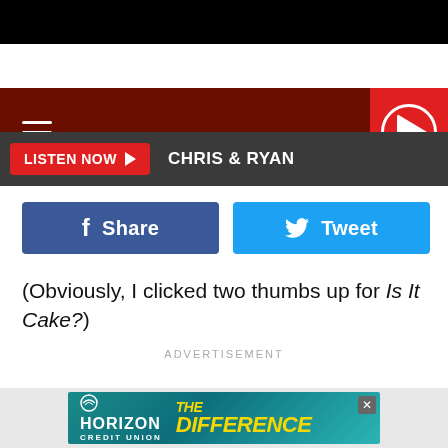[Figure (screenshot): Mix 106 radio website screenshot showing dark red header with Mix 106 logo, hamburger menu, red play button, Listen Now button with Chris & Ryan text, Facebook Share and Twitter Tweet buttons, article text, and advertisement]
Mix 106
LISTEN NOW  CHRIS & RYAN
(Obviously, I clicked two thumbs up for Is It Cake?)
ADVERTISEMENT
[Figure (infographic): Horizon Credit Union advertisement banner showing 'THE DIFFERENCE' in yellow text on teal background]